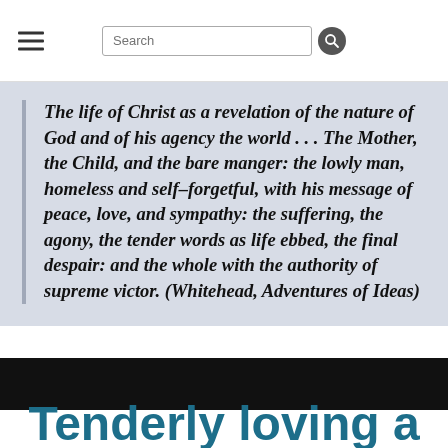Search
The life of Christ as a revelation of the nature of God and of his agency the world . . . The Mother, the Child, and the bare manger: the lowly man, homeless and self–forgetful, with his message of peace, love, and sympathy: the suffering, the agony, the tender words as life ebbed, the final despair: and the whole with the authority of supreme victor. (Whitehead, Adventures of Ideas)
Tenderly loving a